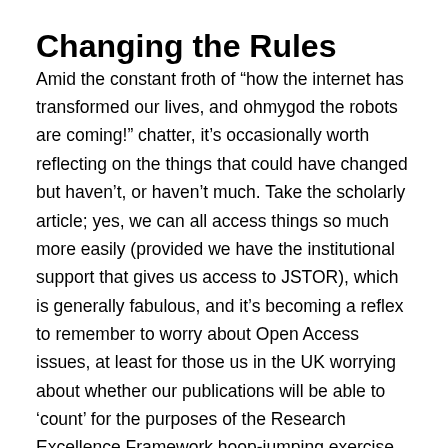Changing the Rules
Amid the constant froth of “how the internet has transformed our lives, and ohmygod the robots are coming!” chatter, it’s occasionally worth reflecting on the things that could have changed but haven’t, or haven’t much. Take the scholarly article; yes, we can all access things so much more easily (provided we have the institutional support that gives us access to JSTOR), which is generally fabulous, and it’s becoming a reflex to remember to worry about Open Access issues, at least for those us in the UK worrying about whether our publications will be able to ‘count’ for the purposes of the Research Excellence Framework hoop-jumping exercise – but the article itself hasn’t dramatically changed in decades, and nor have the journals that might publish it